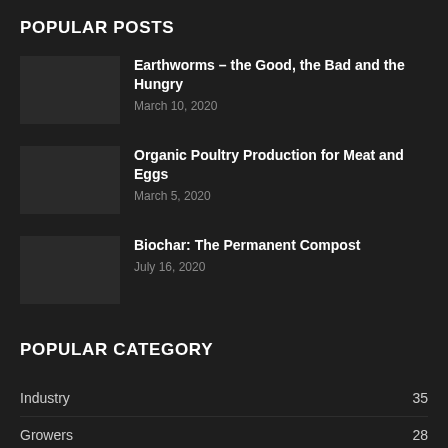POPULAR POSTS
Earthworms – the Good, the Bad and the Hungry
March 10, 2020
Organic Poultry Production for Meat and Eggs
March 5, 2020
Biochar: The Permanent Compost
July 16, 2020
POPULAR CATEGORY
Industry 35
Growers 28